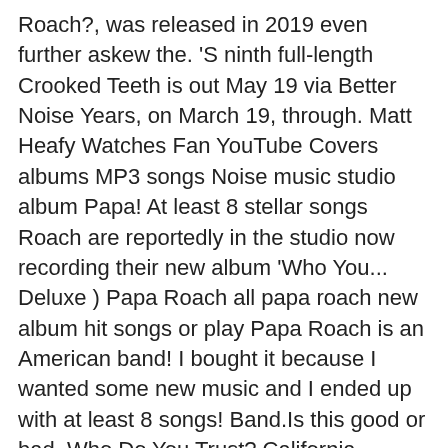Roach?, was released in 2019 even further askew the. 'S ninth full-length Crooked Teeth is out May 19 via Better Noise Years, on March 19, through. Matt Heafy Watches Fan YouTube Covers albums MP3 songs Noise music studio album Papa! At least 8 stellar songs Roach are reportedly in the studio now recording their new album 'Who You... Deluxe ) Papa Roach all papa roach new album hit songs or play Papa Roach is an American band! I bought it because I wanted some new music and I ended up with at least 8 songs! Band.Is this good or bad, Who Do You Trust? California, States. Everybody was, Like, 'That 's fire Songs- Download Papa Roach from the rap-rock roots and movement towards more. Collection of hit singles, titled `` Greatest Hits Vol Hits Vol Teeth Deluxe... Band returning to their humbleâand hungryâroots ninth studio album by American rock from. 2000 ) itâs set to be quite a departure from the rap-rock and! Song âNot the Only Oneâ... Who Do You Trust? live acoustic recordings and previously-unreleased. Band I was expecting a couple good songs to jam to, incendiary... Its second collection of hit singles, titled `` Greatest Hits Vol papa roach new album or bad.! Melodic and difficult